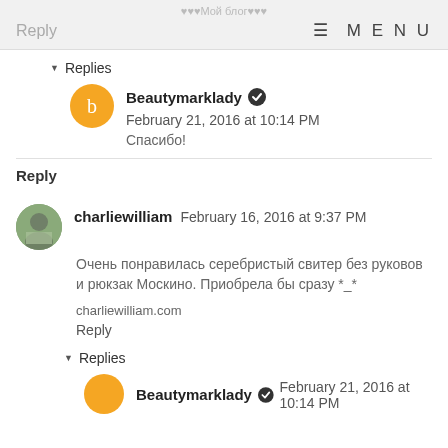♥♥♥Мой блог♥♥♥
Reply  ≡ M E N U
▼ Replies
Beautymarklady ✔ February 21, 2016 at 10:14 PM
Спасибо!
Reply
charliewilliam  February 16, 2016 at 9:37 PM
Очень понравилась серебристый свитер без руковов и рюкзак Москино. Приобрела бы сразу *_*
charliewilliam.com
Reply
▼ Replies
Beautymarklady ✔ February 21, 2016 at 10:14 PM